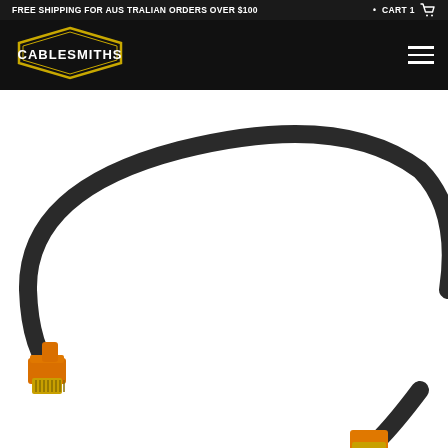FREE SHIPPING FOR AUSTRALIAN ORDERS OVER $100  •  CART 1
[Figure (logo): Cablesmiths logo — white text on black hexagon/diamond badge outline in gold/yellow]
[Figure (photo): Product photo of a black ethernet/network patch cable (Cat8) coiled in a loop with an orange and gold RJ45 connector visible at the bottom left, on a white background]